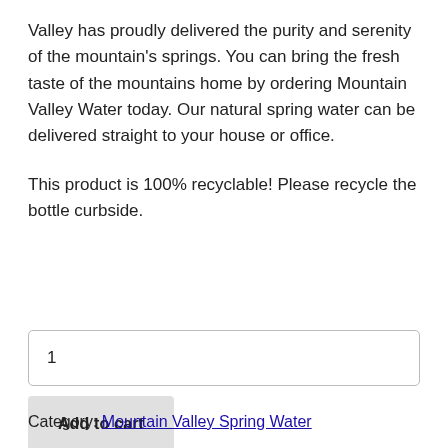Valley has proudly delivered the purity and serenity of the mountain's springs. You can bring the fresh taste of the mountains home by ordering Mountain Valley Water today. Our natural spring water can be delivered straight to your house or office.
This product is 100% recyclable! Please recycle the bottle curbside.
1
Add to cart
Category: Mountain Valley Spring Water